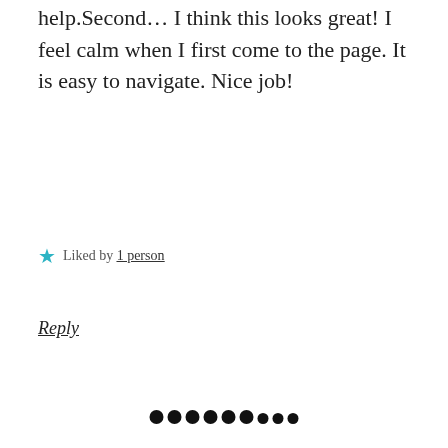help.Second… I think this looks great! I feel calm when I first come to the page. It is easy to navigate. Nice job!
★ Liked by 1 person
Reply
[Figure (other): Row of 9 decorative black dots used as a section separator]
[Figure (photo): Black and white avatar photo of Jonathan James Olivier]
Jonathan James Olivier
February 3, 2016 at 1:44 pm
It took some finagling, but I think this is a smoother theme for what and how I write. I'm